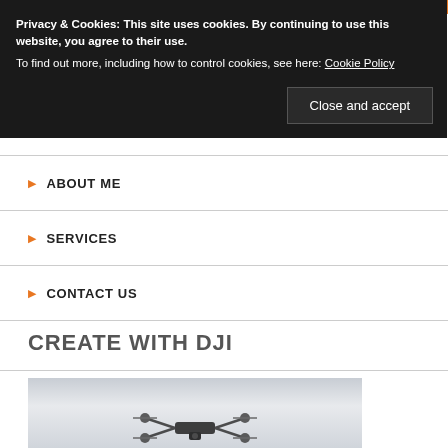Privacy & Cookies: This site uses cookies. By continuing to use this website, you agree to their use.
To find out more, including how to control cookies, see here: Cookie Policy
Close and accept
ABOUT ME
SERVICES
CONTACT US
CREATE WITH DJI
[Figure (photo): Photo of a DJI drone against a grey sky background]